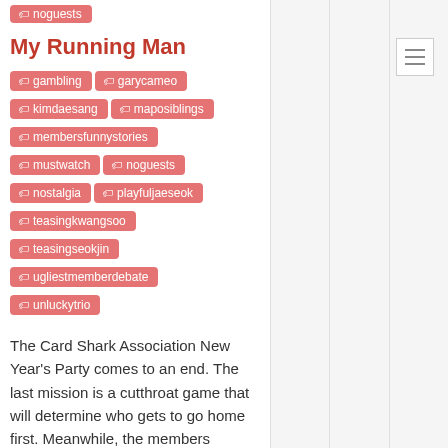noguests
My Running Man
gambling
garycameo
kimdaesang
maposiblings
membersfunnystories
mustwatch
noguests
nostalgia
playfuljaeseok
teasingkwangsoo
teasingseokjin
ugliestmemberdebate
unluckytrio
The Card Shark Association New Year's Party comes to an end. The last mission is a cutthroat game that will determine who gets to go home first. Meanwhile, the members regroup after a week. A new race to decide whose idea will be used to update the outdated Running Man website begins. Stay